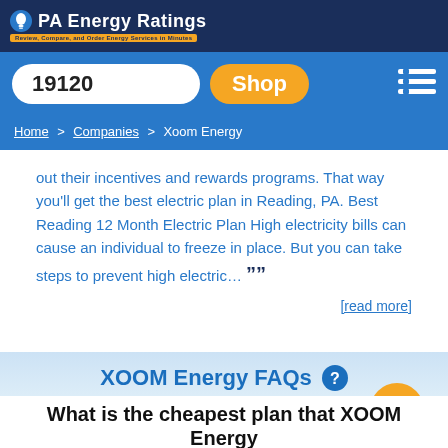PA Energy Ratings
19120   Shop
Home > Companies > Xoom Energy
out their incentives and rewards programs. That way you'll get the best electric plan in Reading, PA. Best Reading 12 Month Electric Plan High electricity bills can cause an individual to freeze in place. But you can take steps to prevent high electric… ””
[read more]
XOOM Energy FAQs
What is the cheapest plan that XOOM Energy